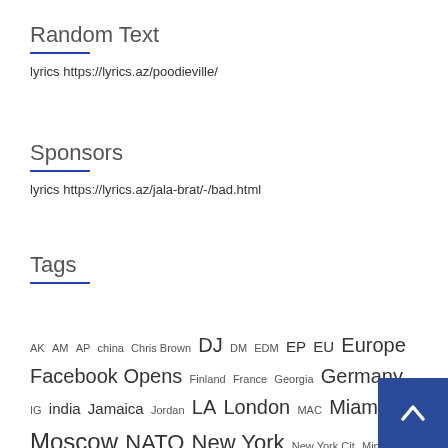Random Text
lyrics https://lyrics.az/poodieville/
Sponsors
lyrics https://lyrics.az/jala-brat/-/bad.html
Tags
AK AM AP china Chris Brown DJ DM EDM EP EU Europe Facebook Opens Finland France Georgia Germany IG india Jamaica Jordan LA London MAC Miami Moscow NATO New York New York Cit… Minaj OG Oh Lord OK Paris PDT Related Pos…
[Figure (other): Blue back-to-top button with upward arrow chevron in bottom-right corner]